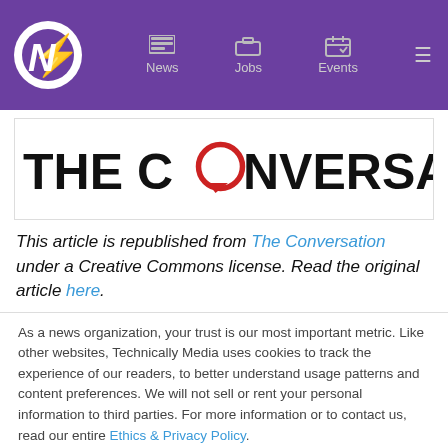News | Jobs | Events
[Figure (logo): The Conversation logo — bold black text reading THE CONVERSATION with a red speech bubble replacing the letter O in CONVERSATION]
This article is republished from The Conversation under a Creative Commons license. Read the original article here.
As a news organization, your trust is our most important metric. Like other websites, Technically Media uses cookies to track the experience of our readers, to better understand usage patterns and content preferences. We will not sell or rent your personal information to third parties. For more information or to contact us, read our entire Ethics & Privacy Policy.